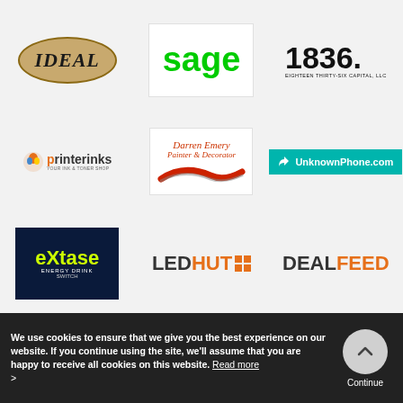[Figure (logo): IDEAL logo – gold oval with bold italic text]
[Figure (logo): Sage logo – green bold lowercase text on white box]
[Figure (logo): 1836 Capital LLC logo – large bold numerals with tagline]
[Figure (logo): printerinks logo with orange flame icon]
[Figure (logo): Darren Emery Painter & Decorator logo with brush stroke]
[Figure (logo): UnknownPhone.com logo on teal background]
[Figure (logo): eXtase Energy Drink logo on dark background]
[Figure (logo): LEDHUT logo with orange HUT]
[Figure (logo): DEALFEED logo with orange FEED]
We use cookies to ensure that we give you the best experience on our website. If you continue using the site, we'll assume that you are happy to receive all cookies on this website. Read more >